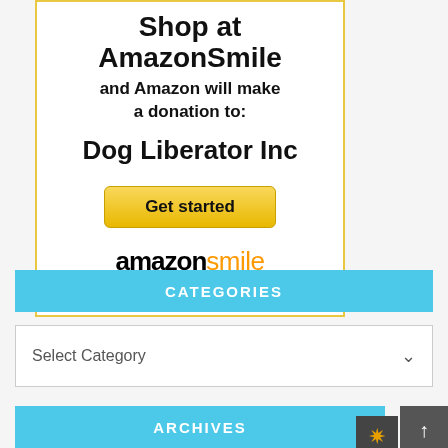[Figure (infographic): AmazonSmile promotional box with text 'Shop at AmazonSmile and Amazon will make a donation to: Dog Liberator Inc', a yellow 'Get started' button, and the AmazonSmile logo with orange arrow.]
CATEGORIES
Select Category
ARCHIVES